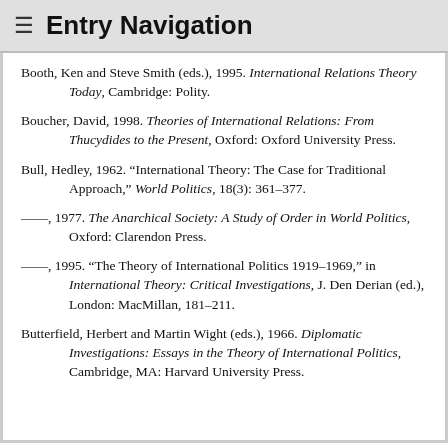≡ Entry Navigation
Booth, Ken and Steve Smith (eds.), 1995. International Relations Theory Today, Cambridge: Polity.
Boucher, David, 1998. Theories of International Relations: From Thucydides to the Present, Oxford: Oxford University Press.
Bull, Hedley, 1962. "International Theory: The Case for Traditional Approach," World Politics, 18(3): 361–377.
––, 1977. The Anarchical Society: A Study of Order in World Politics, Oxford: Clarendon Press.
––, 1995. "The Theory of International Politics 1919–1969," in International Theory: Critical Investigations, J. Den Derian (ed.), London: MacMillan, 181–211.
Butterfield, Herbert and Martin Wight (eds.), 1966. Diplomatic Investigations: Essays in the Theory of International Politics, Cambridge, MA: Harvard University Press.